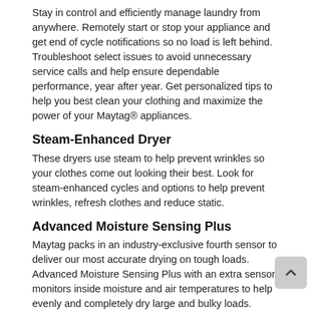Stay in control and efficiently manage laundry from anywhere. Remotely start or stop your appliance and get end of cycle notifications so no load is left behind. Troubleshoot select issues to avoid unnecessary service calls and help ensure dependable performance, year after year. Get personalized tips to help you best clean your clothing and maximize the power of your Maytag® appliances.
Steam-Enhanced Dryer
These dryers use steam to help prevent wrinkles so your clothes come out looking their best. Look for steam-enhanced cycles and options to help prevent wrinkles, refresh clothes and reduce static.
Advanced Moisture Sensing Plus
Maytag packs in an industry-exclusive fourth sensor to deliver our most accurate drying on tough loads. Advanced Moisture Sensing Plus with an extra sensor monitors inside moisture and air temperatures to help evenly and completely dry large and bulky loads.
Quick Dry Cycle
Dry small loads fast with the Quick Dry cycle, which gives...